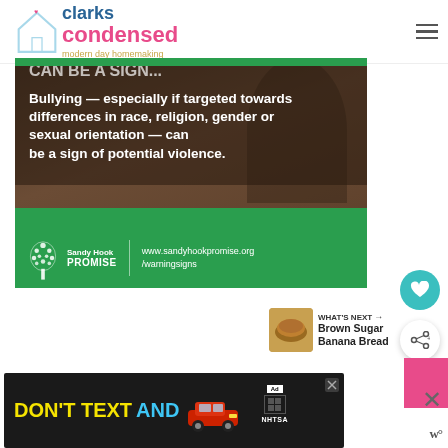clarks condensed — modern day homemaking
[Figure (infographic): Sandy Hook Promise infographic showing text: 'Bullying — especially if targeted towards differences in race, religion, gender or sexual orientation — can be a sign of potential violence.' with Sandy Hook Promise logo and website www.sandyhookpromise.org/warningsigns on a dark/green background]
[Figure (other): Floating heart button (teal) and share button (white circle with share icon)]
[Figure (other): What's Next panel: Brown Sugar Banana Bread thumbnail with label and arrow]
[Figure (other): Bottom advertisement: DON'T TEXT AND [car image] NHTSA ad with close button]